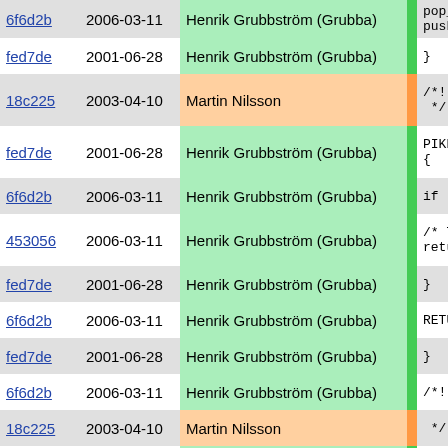| hash | date | author | bar | code |
| --- | --- | --- | --- | --- |
| 6f6d2b | 2006-03-11 | Henrik Grubbström (Grubba) |  | pop_n_e... push_int |
| fed7de | 2001-06-28 | Henrik Grubbström (Grubba) |  | } |
| 18c225 | 2003-04-10 | Martin Nilsson |  | /*! @decl */ |
| fed7de | 2001-06-28 | Henrik Grubbström (Grubba) |  | PIKEFUN s { |
| 6f6d2b | 2006-03-11 | Henrik Grubbström (Grubba) |  | if (!THI |
| 453056 | 2006-03-11 | Henrik Grubbström (Grubba) |  | /* The return |
| fed7de | 2001-06-28 | Henrik Grubbström (Grubba) |  | } |
| 6f6d2b | 2006-03-11 | Henrik Grubbström (Grubba) |  | RETURN e |
| fed7de | 2001-06-28 | Henrik Grubbström (Grubba) |  | } |
| 6f6d2b | 2006-03-11 | Henrik Grubbström (Grubba) |  | /*! @decl |
| 18c225 | 2003-04-10 | Martin Nilsson |  |  */ |
| 6f6d2b | 2006-03-11 | Henrik Grubbström (Grubba) |  | PIKEFUN a |
| 9f9157 | 2001-07-01 | Henrik Grubbström (Grubba) |  | { |
| 6f6d2b | 2006-03-11 | Henrik Grubbström (Grubba) |  | if (THIS ref p |